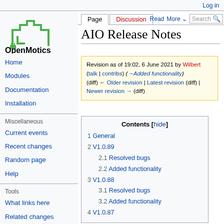Log in
[Figure (logo): OpenMotics logo - green building outline with plug icon, text 'OpenMotics' below]
Home
Modules
Documentation
Installation
Miscellaneous
Current events
Recent changes
Random page
Help
Tools
What links here
Related changes
AIO Release Notes
Revision as of 19:02, 6 June 2021 by Wilbert (talk | contribs) (→Added functionality)
(diff) ← Older revision | Latest revision (diff) | Newer revision → (diff)
Contents [hide]
1 General
2 V1.0.89
  2.1 Resolved bugs
  2.2 Added functionality
3 V1.0.88
  3.1 Resolved bugs
  3.2 Added functionality
4 V1.0.87